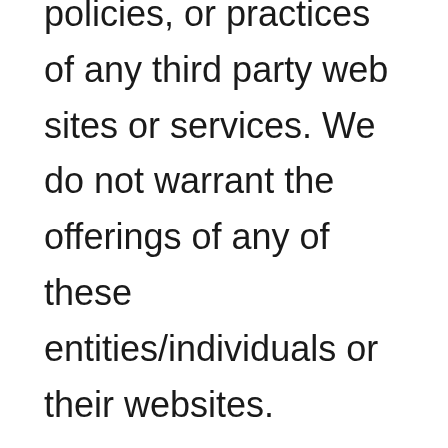policies, or practices of any third party web sites or services. We do not warrant the offerings of any of these entities/individuals or their websites. You acknowledge and agree that The Bernadette Group, LLC shall not be responsible or liable, directly or indirectly, for any damage or loss caused or alleged to be caused by or in connection with use of or reliance on